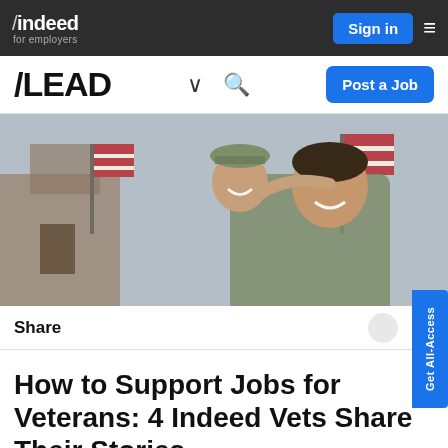indeed for employers | Sign in | Menu
/LEAD | Post a Job
[Figure (photo): A smiling military veteran man in camouflage uniform holding a smiling child wearing a military hat, with American flags in the background.]
Share
How to Support Jobs for Veterans: 4 Indeed Vets Share Their Stories